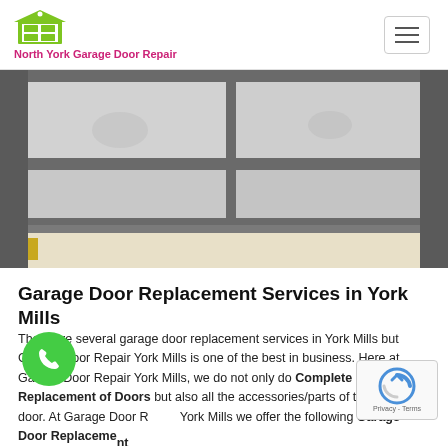North York Garage Door Repair
[Figure (photo): Close-up photo of a garage door showing metal panels and tracks, taken from a low angle looking up. The door panels are light gray/white with dark metal framing and tracks visible.]
Garage Door Replacement Services in York Mills
There are several garage door replacement services in York Mills but Garage Door Repair York Mills is one of the best in business. Here at Garage Door Repair York Mills, we do not only do Complete Replacement of Doors but also all the accessories/parts of the garage door. At Garage Door Repair York Mills we offer the following Garage Door Replacement